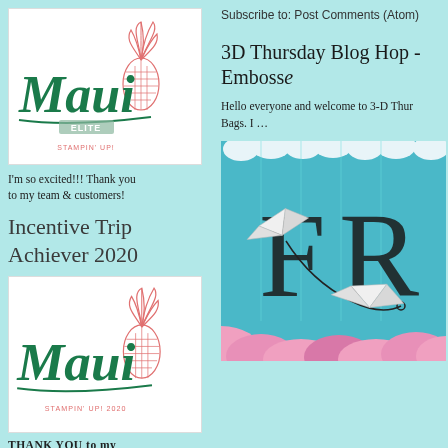[Figure (logo): Maui Elite Stampin Up logo with pink pineapple illustration and green cursive Maui text]
I'm so excited!!! Thank you to my team & customers!
Incentive Trip Achiever 2020
[Figure (logo): Maui Stampin Up 2020 logo with pink pineapple illustration and green cursive Maui text]
THANK YOU to my
Subscribe to: Post Comments (Atom)
3D Thursday Blog Hop - Emboss
Hello everyone and welcome to 3-D Thur Bags.  I ...
[Figure (illustration): Origami birds on teal/aqua background with large letters F and R visible, pink flowers at bottom]